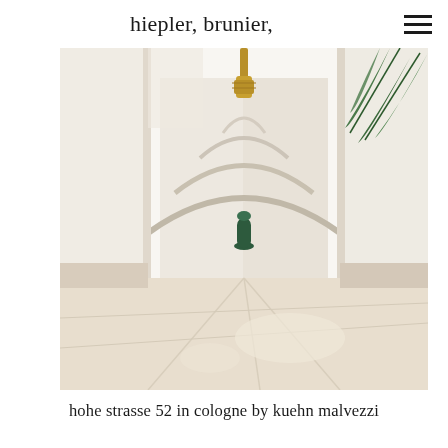hiepler, brunier,
[Figure (photo): Interior corridor of a Moroccan-style building with white arched ceilings, warm sandy stone floor tiles, a large green vase in the background alcove, a hanging ornate brass lantern, and tropical plant leaves visible on the right side.]
hohe strasse 52 in cologne by kuehn malvezzi